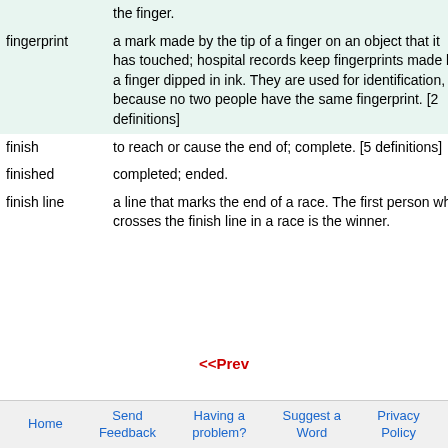| Term | Definition |
| --- | --- |
|  | the finger. |
| fingerprint | a mark made by the tip of a finger on an object that it has touched; hospital records keep fingerprints made by a finger dipped in ink. They are used for identification, because no two people have the same fingerprint. [2 definitions] |
| finish | to reach or cause the end of; complete. [5 definitions] |
| finished | completed; ended. |
| finish line | a line that marks the end of a race. The first person who crosses the finish line in a race is the winner. |
<<Prev
Home | Send Feedback | Having a problem? | Suggest a Word | Privacy Policy